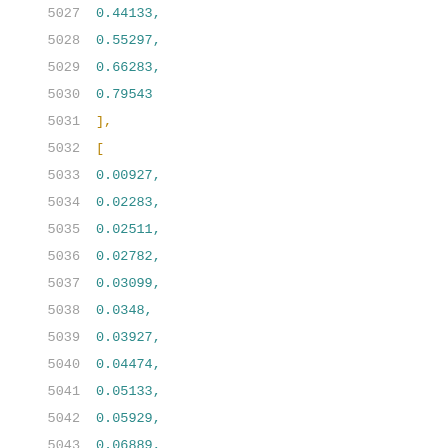5027    0.44133,
5028    0.55297,
5029    0.66283,
5030    0.79543
5031    ],
5032    [
5033    0.00927,
5034    0.02283,
5035    0.02511,
5036    0.02782,
5037    0.03099,
5038    0.0348,
5039    0.03927,
5040    0.04474,
5041    0.05133,
5042    0.05929,
5043    0.06889,
5044    0.08058,
5045    0.09474,
5046    0.11193,
5047    0.13283,
5048    0.15804,